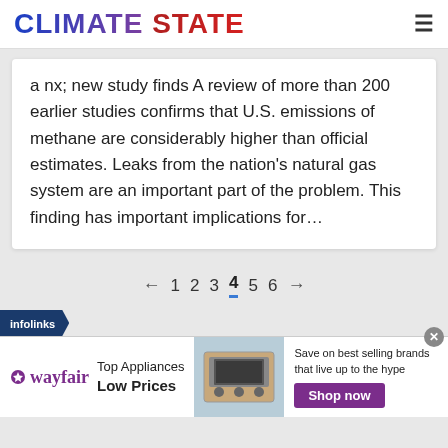CLIMATE STATE
a nx; new study finds A review of more than 200 earlier studies confirms that U.S. emissions of methane are considerably higher than official estimates. Leaks from the nation's natural gas system are an important part of the problem. This finding has important implications for…
← 1 2 3 4 5 6 →
[Figure (infographic): Infolinks branded banner label and Wayfair advertisement showing appliances with text 'Top Appliances Low Prices', 'Save on best selling brands that live up to the hype', and a purple 'Shop now' button]